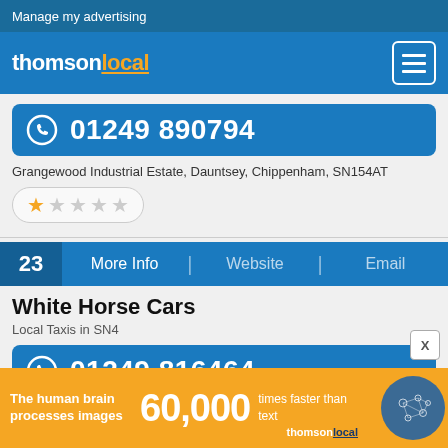Manage my advertising
[Figure (logo): thomsonlocal logo in white and orange with hamburger menu icon]
01249 890794
Grangewood Industrial Estate, Dauntsey, Chippenham, SN154AT
[Figure (other): 1-star rating display with orange star and 4 grey stars in a rounded box]
23  More Info  |  Website  |  Email
White Horse Cars
Local Taxis in SN4
01249 816464
63 Wenhill Heights, Calne, SN110JZ
The human brain processes images  60,000  times faster than text